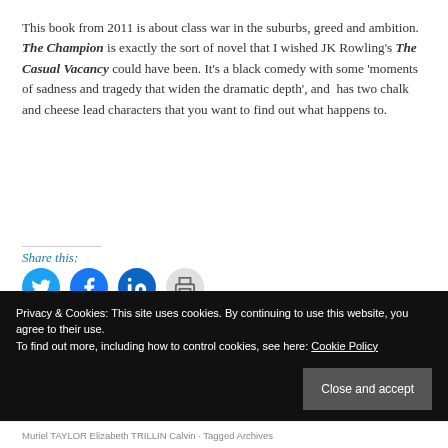This book from 2011 is about class war in the suburbs, greed and ambition. The Champion is exactly the sort of novel that I wished JK Rowling's The Casual Vacancy could have been. It's a black comedy with some 'moments of sadness and tragedy that widen the dramatic depth', and has two chalk and cheese lead characters that you want to find out what happens to.
Share this:
[Figure (infographic): Four social sharing icon buttons: Twitter (blue circle with bird), Facebook (blue circle with f), LinkedIn (blue circle with in), Print (gray circle with printer icon)]
Privacy & Cookies: This site uses cookies. By continuing to use this website, you agree to their use. To find out more, including how to control cookies, see here: Cookie Policy
Muriel TAYLOR Elizabeth TRILLIN Calvin · Tagged Archives